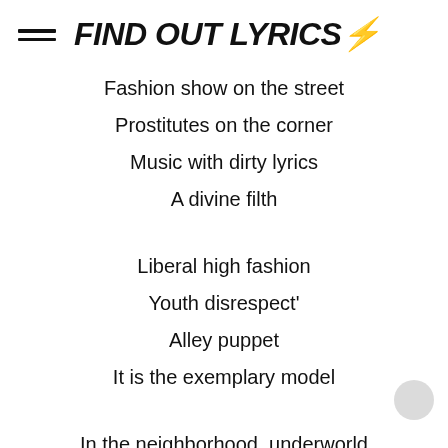FIND OUT LYRICS⚡
Fashion show on the street
Prostitutes on the corner
Music with dirty lyrics
A divine filth
Liberal high fashion
Youth disrespect'
Alley puppet
It is the exemplary model
In the neighborhood, underworld
They call sex “Singar”